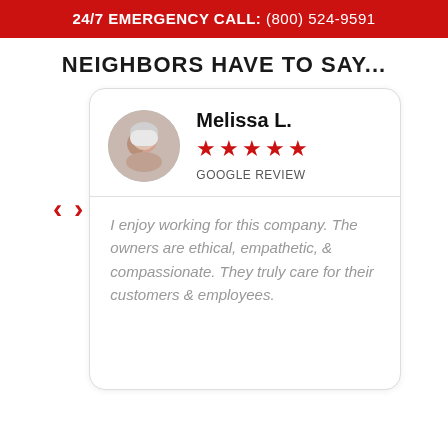24/7 EMERGENCY CALL: (800) 524-9591
NEIGHBORS HAVE TO SAY...
Melissa L.
★★★★★
GOOGLE REVIEW
I enjoy working for this company. The owners are ethical, empathetic, & compassionate. They truly care for their customers & employees.